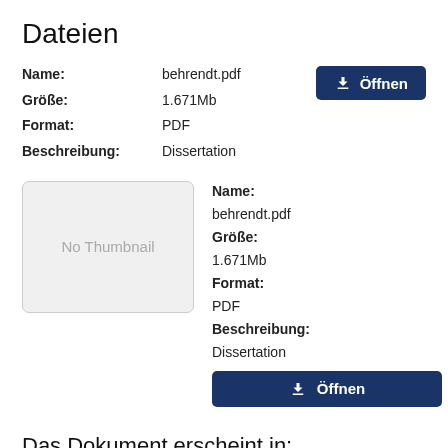Dateien
| Label | Value |
| --- | --- |
| Name: | behrendt.pdf |
| Größe: | 1.671Mb |
| Format: | PDF |
| Beschreibung: | Dissertation |
[Figure (screenshot): No Thumbnail placeholder box]
| Label | Value |
| --- | --- |
| Name: | behrendt.pdf |
| Größe: | 1.671Mb |
| Format: | PDF |
| Beschreibung: | Dissertation |
Das Dokument erscheint in:
Fakultät für Biologie und Psychologie (inkl. GAUSS) [1555]